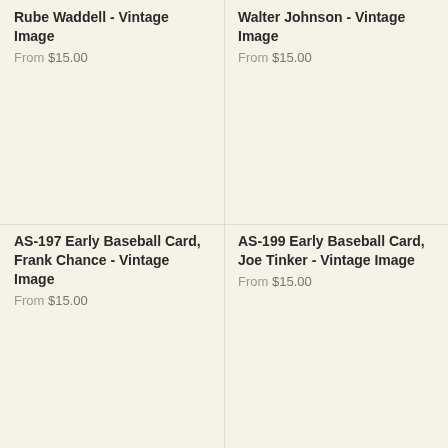Rube Waddell - Vintage Image
From $15.00
[Figure (photo): Empty product image placeholder for Rube Waddell vintage image]
Walter Johnson - Vintage Image
From $15.00
[Figure (photo): Empty product image placeholder for Walter Johnson vintage image]
AS-197 Early Baseball Card, Frank Chance - Vintage Image
From $15.00
[Figure (photo): Empty product image placeholder for Frank Chance vintage image]
AS-199 Early Baseball Card, Joe Tinker - Vintage Image
From $15.00
[Figure (photo): Empty product image placeholder for Joe Tinker vintage image]